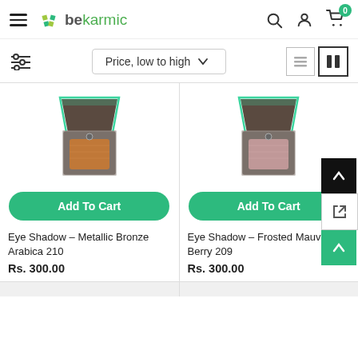bekarmic — navigation header with hamburger menu, logo, search, account, and cart icons
Price, low to high
[Figure (photo): Eye shadow compact box open showing Metallic Bronze Arabica 210 pan, with teal accent on box lid]
Add To Cart
Eye Shadow – Metallic Bronze Arabica 210
Rs. 300.00
[Figure (photo): Eye shadow compact box open showing Frosted Mauve Berry 209 pan, with teal accent on box lid]
Add To Cart
Eye Shadow – Frosted Mauve Berry 209
Rs. 300.00